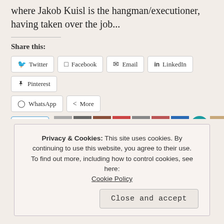where Jakob Kuisl is the hangman/executioner, having taken over the job...
Share this:
Twitter Facebook Email LinkedIn Pinterest WhatsApp More
Like
13 bloggers like this.
Privacy & Cookies: This site uses cookies. By continuing to use this website, you agree to their use. To find out more, including how to control cookies, see here: Cookie Policy
Close and accept
Book Review: Murder at the Savou